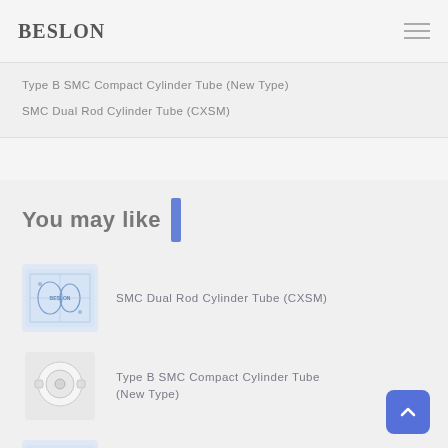BESLON
Type B SMC Compact Cylinder Tube (New Type)
SMC Dual Rod Cylinder Tube (CXSM)
You may like
[Figure (illustration): Thumbnail image of SMC Dual Rod Cylinder Tube (CXSM) with Beslon logo watermark]
SMC Dual Rod Cylinder Tube (CXSM)
[Figure (photo): Thumbnail photo of Type B SMC Compact Cylinder Tube (New Type), white cylindrical component]
Type B SMC Compact Cylinder Tube (New Type)
[Figure (illustration): Thumbnail illustration of Pneumatic Cylinder Aluminum Alloy Round Tube]
Pneumatic Cylinder Aluminum Alloy Round Tube